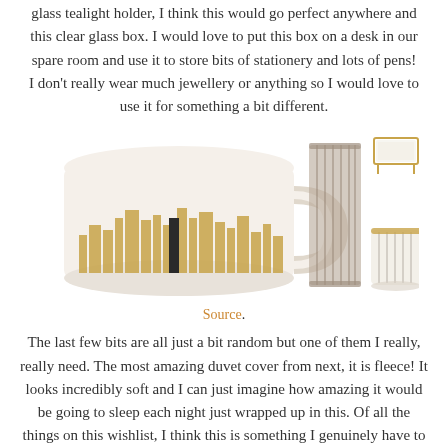glass tealight holder, I think this would go perfect anywhere and this clear glass box. I would love to put this box on a desk in our spare room and use it to store bits of stationery and lots of pens! I don't really wear much jewellery or anything so I would love to use it for something a bit different.
[Figure (photo): Product photos showing a white mug with gold city skyline design, a ribbed glass vase/cup, a small gold-framed glass box/display case, and a small ribbed glass tealight holder.]
Source.
The last few bits are all just a bit random but one of them I really, really need. The most amazing duvet cover from next, it is fleece! It looks incredibly soft and I can just imagine how amazing it would be going to sleep each night just wrapped up in this. Of all the things on this wishlist, I think this is something I genuinely have to get! Another thing I just love is